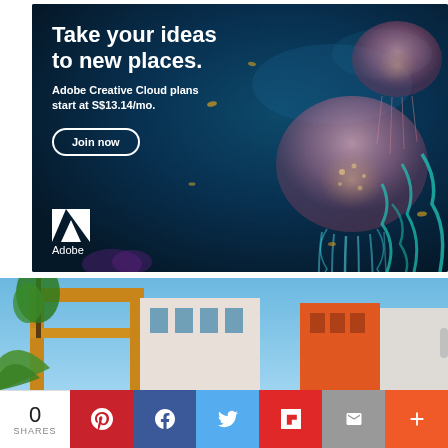[Figure (illustration): Adobe Creative Cloud advertisement banner with dark navy ocean background featuring jellyfish and fish. White bold text reads 'Take your ideas to new places.' with subtext 'Adobe Creative Cloud plans start at S$13.14/mo.' A 'Join now' button with white border is shown. Adobe logo (A triangle mark) and wordmark 'Adobe' appear in bottom left.]
[Figure (photo): Photograph of modern colorful apartment buildings with yellow/orange and white facades against a clear blue sky, with a tree and green leaves visible on the left side.]
0
SHARES